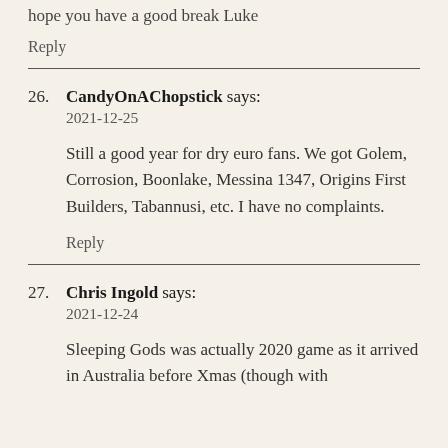hope you have a good break Luke
Reply
26. CandyOnAChopstick says:
2021-12-25
Still a good year for dry euro fans. We got Golem, Corrosion, Boonlake, Messina 1347, Origins First Builders, Tabannusi, etc. I have no complaints.
Reply
27. Chris Ingold says:
2021-12-24
Sleeping Gods was actually 2020 game as it arrived in Australia before Xmas (though with